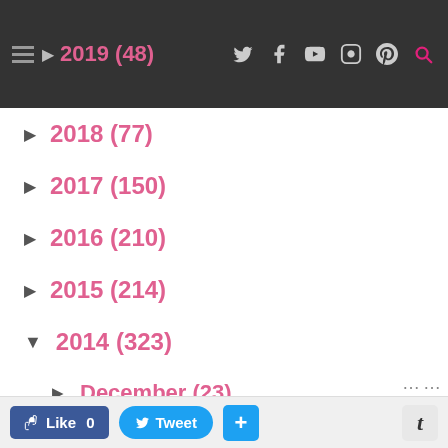2019 (48)
▶ 2018 (77)
▶ 2017 (150)
▶ 2016 (210)
▶ 2015 (214)
▼ 2014 (323)
▶ December (23)
▶ November (25)
▶ October (23)
▶ September (27)
▶ August (22)
▶ July (20)
▶ June (24)
Like 0  Tweet  +  t